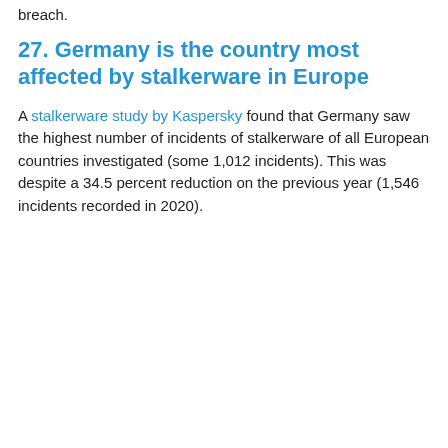breach.
27. Germany is the country most affected by stalkerware in Europe
A stalkerware study by Kaspersky found that Germany saw the highest number of incidents of stalkerware of all European countries investigated (some 1,012 incidents). This was despite a 34.5 percent reduction on the previous year (1,546 incidents recorded in 2020).